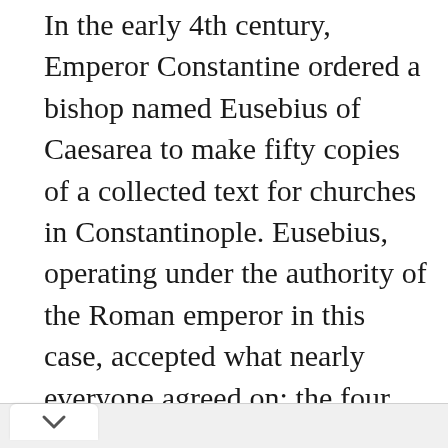In the early 4th century, Emperor Constantine ordered a bishop named Eusebius of Caesarea to make fifty copies of a collected text for churches in Constantinople. Eusebius, operating under the authority of the Roman emperor in this case, accepted what nearly everyone agreed on: the four Gospels, Acts, thirteen Pauline letters, 1 John, and 1 Peter. He then accepted the validity of others: James, 2 Peter, Jude, 2 and 3 John, Hebrews, and Revelation. He rejected as part of the New Testament other documents in circulation.